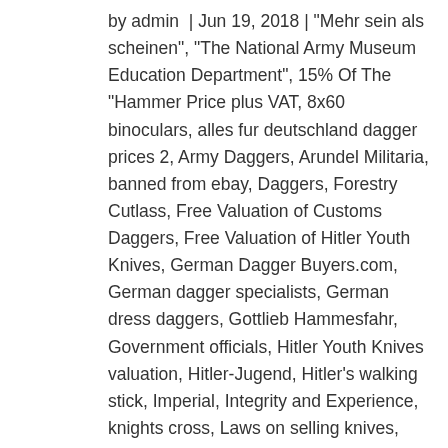by admin | Jun 19, 2018 | "Mehr sein als scheinen", "The National Army Museum Education Department", 15% Of The "Hammer Price plus VAT, 8x60 binoculars, alles fur deutschland dagger prices 2, Army Daggers, Arundel Militaria, banned from ebay, Daggers, Forestry Cutlass, Free Valuation of Customs Daggers, Free Valuation of Hitler Youth Knives, German Dagger Buyers.com, German dagger specialists, German dress daggers, Gottlieb Hammesfahr, Government officials, Hitler Youth Knives valuation, Hitler-Jugend, Hitler's walking stick, Imperial, Integrity and Experience, knights cross, Laws on selling knives, Militaria Auctioneers, Militaria Intellectual Property, military motorcycle owners club, N.P.E.A., Nazi Dagger Experts, Nazi Dagger Free Valuation, NAZI items And All Weapons, Nazi Postal Protection Dagger, NPEA Dagger Buyers, Paul Ebel, Paul Weyersberg & Co, Paul Weyersburg, Payments, pommel, R.A.D., R.A.D.Daggers, Red Cross Daggers & Hewers free valuation, second world war,